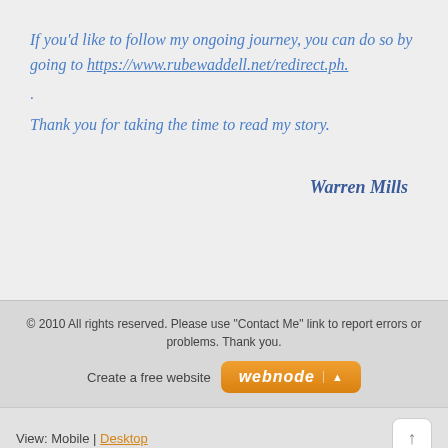If you'd like to follow my ongoing journey, you can do so by going to https://www.rubewaddell.net/redirect.ph.
.
Thank you for taking the time to read my story.
Warren Mills
© 2010 All rights reserved. Please use "Contact Me" link to report errors or problems. Thank you.
Create a free website  webnode ▲
View: Mobile | Desktop